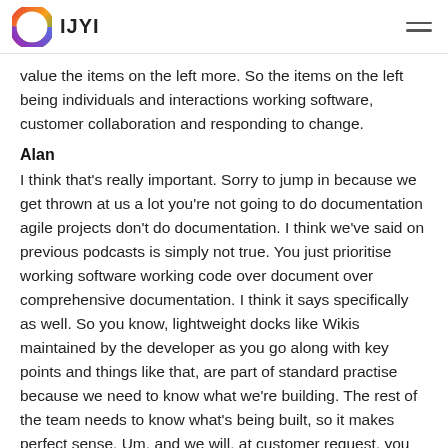IJYI
value the items on the left more. So the items on the left being individuals and interactions working software, customer collaboration and responding to change.
Alan
I think that’s really important. Sorry to jump in because we get thrown at us a lot you’re not going to do documentation agile projects don’t do documentation. I think we’ve said on previous podcasts is simply not true. You just prioritise working software working code over document over comprehensive documentation. I think it says specifically as well. So you know, lightweight docks like Wikis maintained by the developer as you go along with key points and things like that, are part of standard practise because we need to know what we’re building. The rest of the team needs to know what’s being built, so it makes perfect sense. Um, and we will, at customer request, you know, produce whatever documentation is required for hand over and